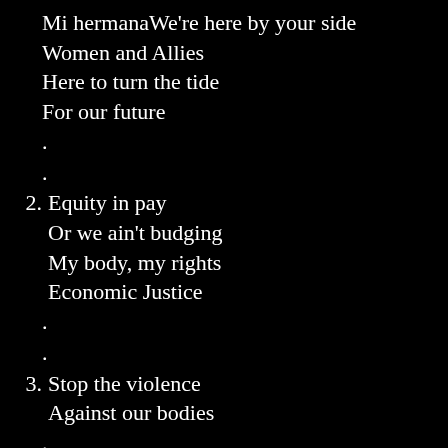Mi hermanaWe're here by your side
Women and Allies
Here to turn the tide
For our future
.
.
2. Equity in pay
Or we ain't budging
My body, my rights
Economic Justice
.
.
3. Stop the violence
Against our bodies
.
.